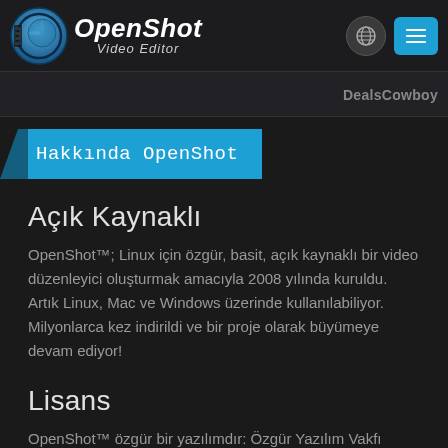[Figure (logo): OpenShot Video Editor logo with globe icon and hamburger menu button in header]
DealsCowboy
Hakkında OpenShot
Açık Kaynaklı
OpenShot™; Linux için özgür, basit, açık kaynaklı bir video düzenleyici oluşturmak amacıyla 2008 yılında kuruldu. Artık Linux, Mac ve Windows üzerinde kullanılabiliyor. Milyonlarca kez indirildi ve bir proje olarak büyümeye devam ediyor!
Lisans
OpenShot™ özgür bir yazılımdır: Özgür Yazılım Vakfı tarafından